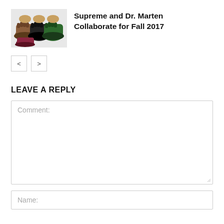[Figure (photo): Thumbnail photo of Dr. Marten shoes in multiple colors (brown, black, green, burgundy) lined up together]
Supreme and Dr. Marten Collaborate for Fall 2017
< >
LEAVE A REPLY
Comment:
Name: